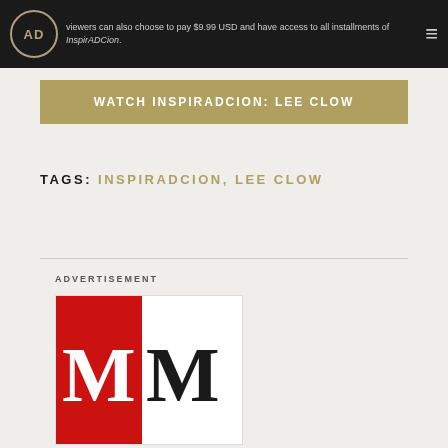viewers can also choose to pay $9.99 USD and have access to all installments of InspirADCion.
WATCH INSPIRADCION: LEE CLOW
TAGS: INSPIRADCION, LEE CLOW
ADVERTISEMENT
[Figure (logo): MM logo: a large red rectangle on the left containing a white letter M, and a black letter M on the right on white background]